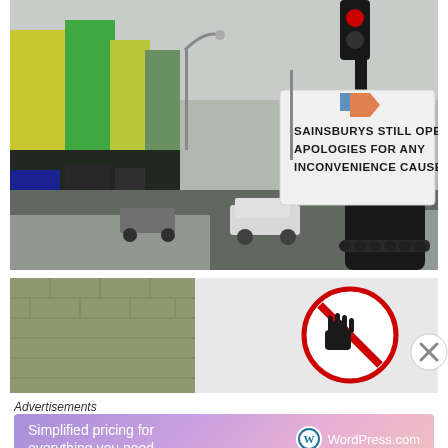[Figure (photo): Street scene with a black post/bollard in foreground with a white sign attached reading 'SAINSBURYS STILL OPEN. APOLOGIES FOR ANY INCONVENIENCE CAUSED.' A pedestrian walks on the pavement, cars visible, colourful shopfronts on the left, traffic light with red light above.]
[Figure (photo): A white sign with a red no-smoking style circular sign (showing a hand/gesture crossed out with red circle and diagonal bar) mounted against a stone/brick wall background.]
Advertisements
[Figure (screenshot): WordPress.com advertisement banner with gradient purple-pink background. Text reads 'Simplified pricing for everything you need.' WordPress.com logo on the right.]